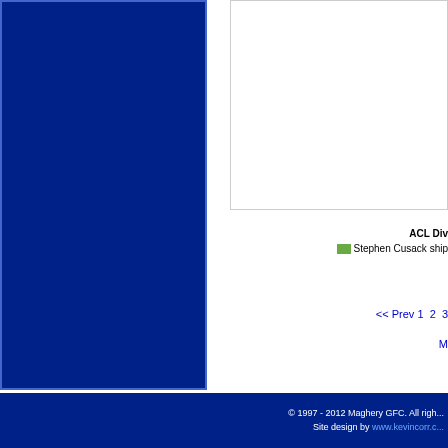[Figure (other): Blue sidebar panel on the left side of the page]
[Figure (other): White content panel in the top right area]
ACL Div
[Figure (photo): Stephen Cusack ship image thumbnail]
Stephen Cusack ship
<< Prev 1 2 3
M
© 1997 - 2012 Maghery GFC. All rights reserved. Site design by www.kevincorr.c...